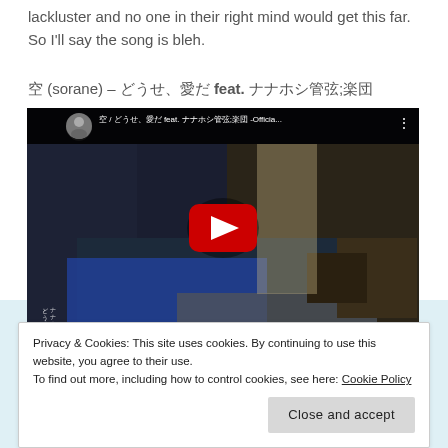lackluster and no one in their right mind would get this far. So I'll say the song is bleh.
空 (sorane) – どうせ、愛だ feat. ナナホシ管弦楽団
[Figure (screenshot): YouTube video embed showing a bedroom scene with a red play button in the center. Video title reads: 空 / どうせ、愛だ feat. ナナホシ管弦楽団 -Officia...]
Privacy & Cookies: This site uses cookies. By continuing to use this website, you agree to their use.
To find out more, including how to control cookies, see here: Cookie Policy